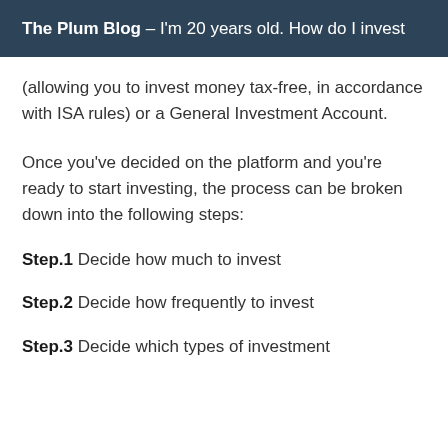The Plum Blog — I'm 20 years old. How do I invest
(allowing you to invest money tax-free, in accordance with ISA rules) or a General Investment Account.
Once you've decided on the platform and you're ready to start investing, the process can be broken down into the following steps:
Step.1 Decide how much to invest
Step.2 Decide how frequently to invest
Step.3 Decide which types of investment